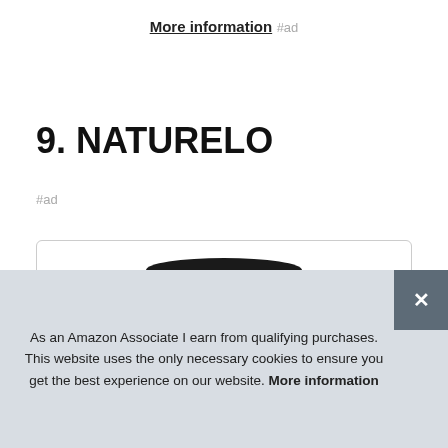More information #ad
9. NATURELO
#ad
[Figure (photo): Product photo of NATURELO supplement bottle, showing black ribbed cap, partial bottle body, and green PREMIUM SUPPLEMENTS label strip at bottom]
As an Amazon Associate I earn from qualifying purchases. This website uses the only necessary cookies to ensure you get the best experience on our website. More information